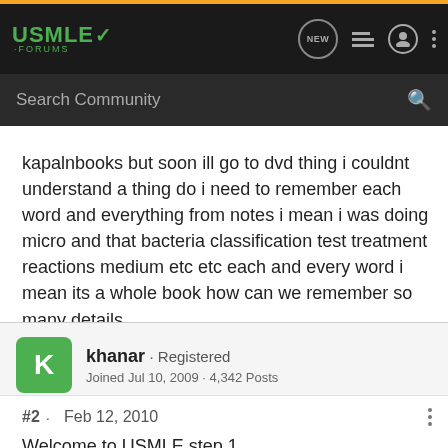USMLE Forums
Search Community
kapalnbooks but soon ill go to dvd thing i couldnt understand a thing do i need to remember each word and everything from notes i mean i was doing micro and that bacteria classification test treatment reactions medium etc etc each and every word i mean its a whole book how can we remember so many details 😱
khanar · Registered
Joined Jul 10, 2009 · 4,342 Posts
#2 · Feb 12, 2010
Welcome to USMLE step 1